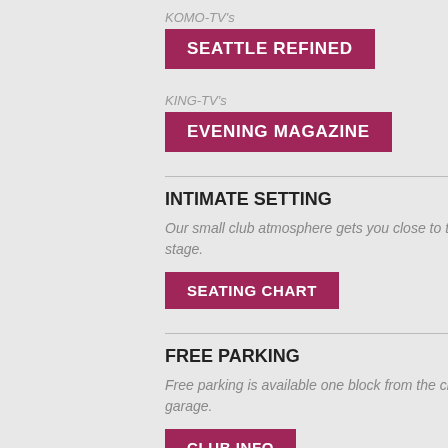KOMO-TV's
SEATTLE REFINED
KING-TV's
EVENING MAGAZINE
INTIMATE SETTING
Our small club atmosphere gets you close to the performers. All seats are within 50 feet of the stage.
SEATING CHART
FREE PARKING
Free parking is available one block from the club at the secure and covered Westin Building garage.
CLUB INFO
SEATTLE'S JAZZ CLUB
Jazz Alley is a fixture of the Seattle live music and dining scene, family owned and
ART
ALL S
Nine- US c
“They long–
The d from
“Few platin music in mu
“Lani raise Say M for he prima
VID